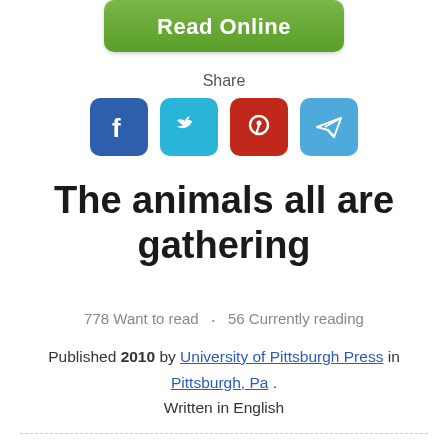[Figure (other): Green 'Read Online' button]
Share
[Figure (other): Social sharing icons: Facebook (blue), Twitter (cyan), Pinterest (red), Telegram (light blue)]
The animals all are gathering
778 Want to read · 56 Currently reading
Published 2010 by University of Pittsburgh Press in Pittsburgh, Pa . Written in English